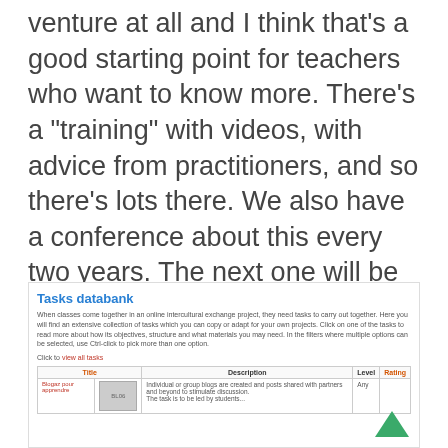venture at all and I think that’s a good starting point for teachers who want to know more. There’s a “training” with videos, with advice from practitioners, and so there’s lots there. We also have a conference about this every two years. The next one will be in Poland in Krakow in 2018 and you can find more information on the website.  So I hope this has been helpful for you and useful. If you have any follow up questions, please use the comment box below.
[Figure (screenshot): Screenshot of a 'Tasks databank' webpage. It shows a title 'Tasks databank' in blue, descriptive text about online intercultural exchange projects, a 'view all tasks' link in red, and a table with columns Title (orange), Description (bold), Level, Rating (orange). One row shows 'Blogaz pour apprendre' with a blog thumbnail and description about individual or group blogs.]